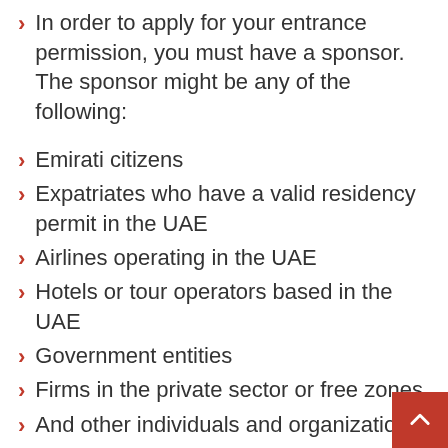In order to apply for your entrance permission, you must have a sponsor. The sponsor might be any of the following:
Emirati citizens
Expatriates who have a valid residency permit in the UAE
Airlines operating in the UAE
Hotels or tour operators based in the UAE
Government entities
Firms in the private sector or free zones
And other individuals and organizations.